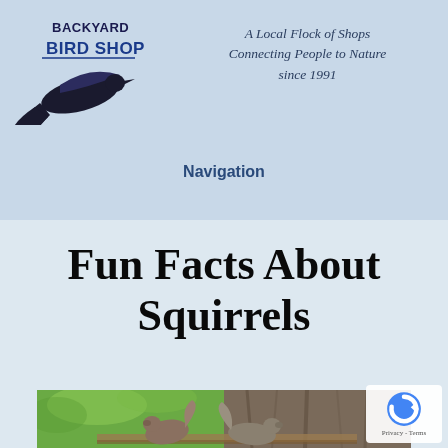[Figure (logo): Backyard Bird Shop logo with a bird silhouette and text]
A Local Flock of Shops
Connecting People to Nature
since 1991
Navigation
Fun Facts About Squirrels
[Figure (photo): Two squirrels on a wooden fence railing with green foliage and tree bark in the background]